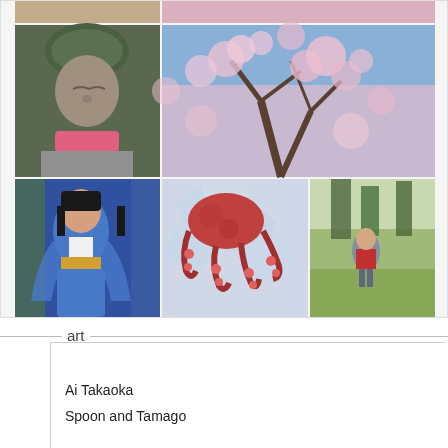[Figure (photo): Grid of Japanese travel photos: partial top row showing a statue and cherry blossoms; middle row showing a moss-covered Jizo statue with pink bib and cherry blossom tree viewed from below; bottom row showing a cosplay performer in blue costume, octopus on ice, and a garden scene]
art
Ai Takaoka
Spoon and Tamago